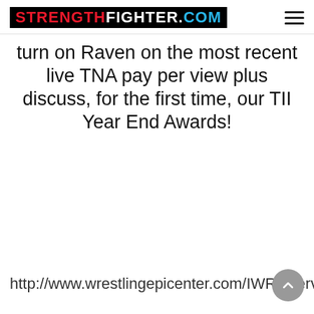[Figure (logo): StrengthFighter.com logo in black box with red STRENGTH, white FIGHTER, and cyan .COM text. Hamburger menu icon on right.]
turn on Raven on the most recent live TNA pay per view plus discuss, for the first time, our TII Year End Awards!
http://www.wrestlingepicenter.com/IWR/interviews/Missy1003.html